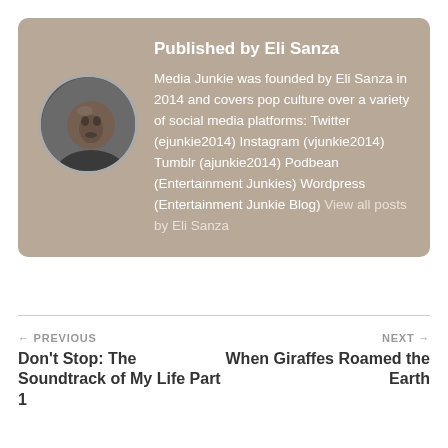Published by Eli Sanza
Media Junkie was founded by Eli Sanza in 2014 and covers pop culture over a variety of social media platforms: Twitter (ejunkie2014) Instagram (vjunkie2014) Tumblr (ajunkie2014) Podbean (Entertainment Junkies) Wordpress (Entertainment Junkie Blog) View all posts by Eli Sanza
[Figure (photo): Circular avatar photo of Eli Sanza, a man with his hand near his chin]
← PREVIOUS
Don't Stop: The Soundtrack of My Life Part 1
NEXT →
When Giraffes Roamed the Earth